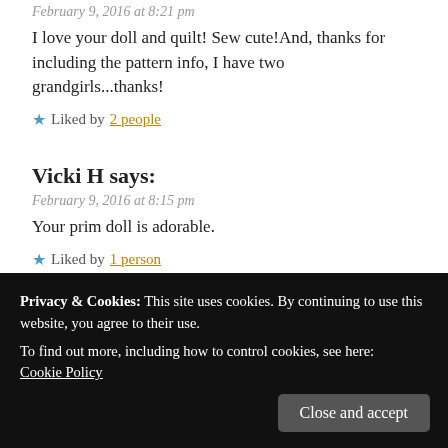February 9, 2016 at 8:21 pm
I love your doll and quilt! Sew cute!And, thanks for including the pattern info, I have two grandgirls...thanks!
Liked by 2 people
Vicki H says:
February 9, 2016 at 8:15 pm
Your prim doll is adorable.
Liked by 1 person
LJ says:
Privacy & Cookies: This site uses cookies. By continuing to use this website, you agree to their use.
To find out more, including how to control cookies, see here: Cookie Policy
Close and accept
Nancy says: